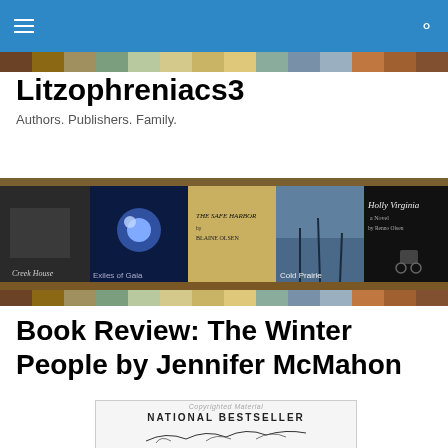Litzophreniacs3 — navigation bar
[Figure (illustration): Colorful vertical stripe banner below nav bar]
Litzophreniacs3
Authors. Publishers. Family.
[Figure (photo): Row of five book covers: Creek House, Exiles of Gaia, The Safe Harbor (by Blaine Olsen), Cold Prairie, Holly Virginia (a Novel by Renno Olsen)]
[Figure (illustration): Colorful vertical stripe banner below book covers]
Book Review: The Winter People by Jennifer McMahon
[Figure (photo): Book cover for The Winter People — National Bestseller label at top, bare branch illustration below]